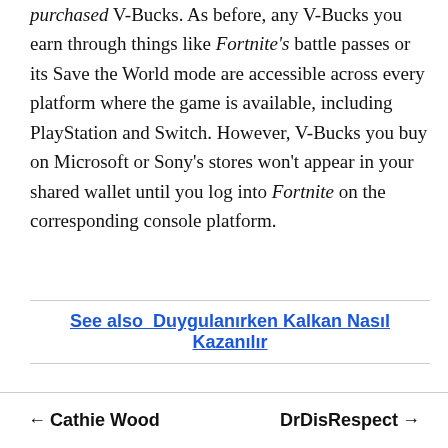purchased V-Bucks. As before, any V-Bucks you earn through things like Fortnite's battle passes or its Save the World mode are accessible across every platform where the game is available, including PlayStation and Switch. However, V-Bucks you buy on Microsoft or Sony's stores won't appear in your shared wallet until you log into Fortnite on the corresponding console platform.
See also  Duygulanırken Kalkan Nasıl Kazanılır
← Cathie Wood   DrDisRespect →